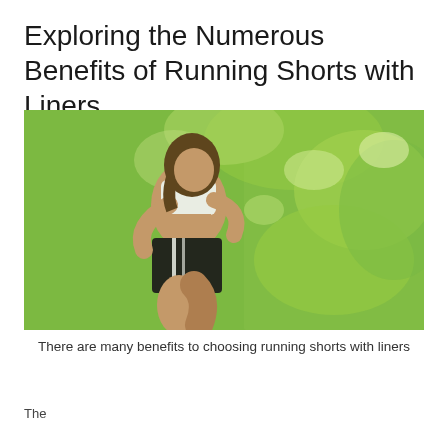Exploring the Numerous Benefits of Running Shorts with Liners
[Figure (photo): A woman running outdoors wearing black running shorts and a white sports bra, with a blurred green leafy background suggesting motion.]
There are many benefits to choosing running shorts with liners
The...